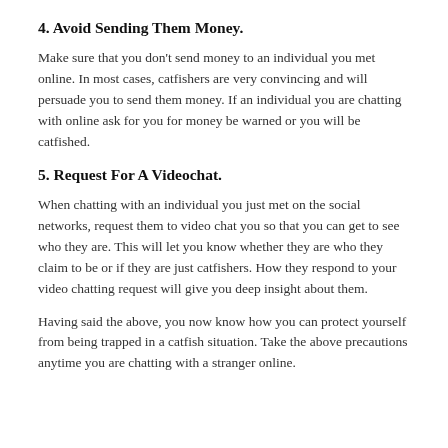4. Avoid Sending Them Money.
Make sure that you don't send money to an individual you met online. In most cases, catfishers are very convincing and will persuade you to send them money. If an individual you are chatting with online ask for you for money be warned or you will be catfished.
5. Request For A Videochat.
When chatting with an individual you just met on the social networks, request them to video chat you so that you can get to see who they are. This will let you know whether they are who they claim to be or if they are just catfishers. How they respond to your video chatting request will give you deep insight about them.
Having said the above, you now know how you can protect yourself from being trapped in a catfish situation. Take the above precautions anytime you are chatting with a stranger online.